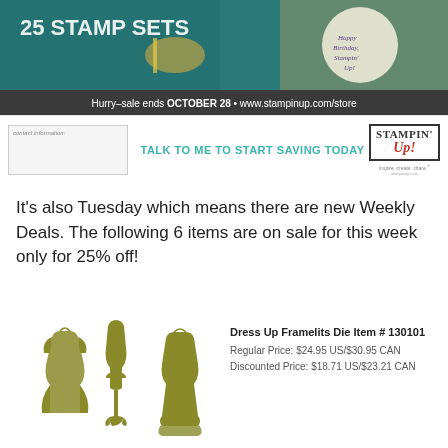[Figure (photo): Stampin' Up! promotional banner advertising 25 stamp sets sale ending October 28, with a birthday cake and crafting supplies, website www.stampinup.com/store]
contact information
TALK TO ME TO START SAVING TODAY
[Figure (logo): Stampin' Up! logo with tagline inspire. create. share.]
It's also Tuesday which means there are new Weekly Deals. The following 6 items are on sale for this week only for 25% off!
[Figure (photo): Dress Up Framelits Die cut shapes in olive/gold color showing three dress forms]
Dress Up Framelits Die Item # 130101
Regular Price: $24.95 US/$30.95 CAN
Discounted Price: $18.71 US/$23.21 CAN